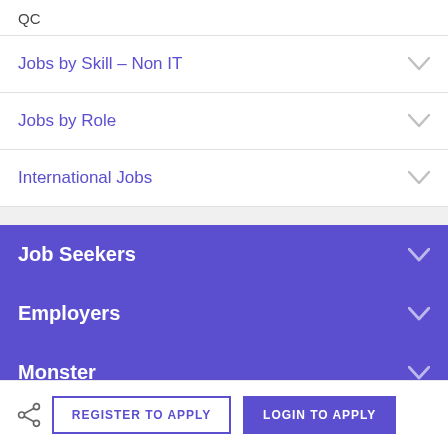QC
Jobs by Skill – Non IT
Jobs by Role
International Jobs
Job Seekers
Employers
Monster
Legal
REGISTER TO APPLY
LOGIN TO APPLY